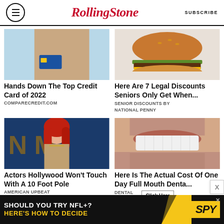RollingStone — SUBSCRIBE
[Figure (photo): Woman in beige top holding a credit card and phone against light blue background]
Hands Down The Top Credit Card of 2022
COMPARECREDIT.COM
[Figure (photo): Cheeseburger on white paper wrapping]
Here Are 7 Legal Discounts Seniors Only Get When...
SENIOR DISCOUNTS BY NATIONAL PENNY
[Figure (photo): Red-haired actress on a blue carpet at a Hollywood event]
Actors Hollywood Won't Touch With A 10 Foot Pole
AMERICAN UPBEAT
[Figure (photo): Close-up of a man's mouth showing dental implants]
Here Is The Actual Cost Of One Day Full Mouth Denta...
DENTAL IMPLANTS
[Figure (infographic): Ad banner: SHOULD YOU TRY NFL+? HERE'S HOW TO DECIDE with SPY logo]